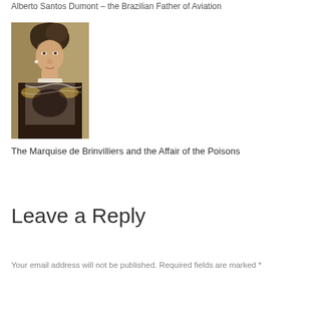Alberto Santos Dumont – the Brazilian Father of Aviation
[Figure (photo): Portrait painting of a woman (the Marquise de Brinvilliers) in historical dress, wearing an elaborate off-shoulder gown with lace and dark fabric, pearl earring, white collar, with styled dark hair.]
The Marquise de Brinvilliers and the Affair of the Poisons
Leave a Reply
Your email address will not be published. Required fields are marked *